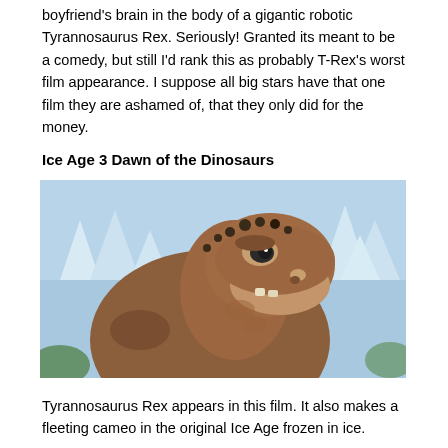boyfriend's brain in the body of a gigantic robotic Tyrannosaurus Rex. Seriously! Granted its meant to be a comedy, but still I'd rank this as probably T-Rex's worst film appearance. I suppose all big stars have that one film they are ashamed of, that they only did for the money.
Ice Age 3 Dawn of the Dinosaurs
[Figure (photo): Animated Tyrannosaurus Rex from Ice Age 3 Dawn of the Dinosaurs, close-up of the dinosaur's head and neck against a snowy background with ice formations]
Tyrannosaurus Rex appears in this film. It also makes a fleeting cameo in the original Ice Age frozen in ice.